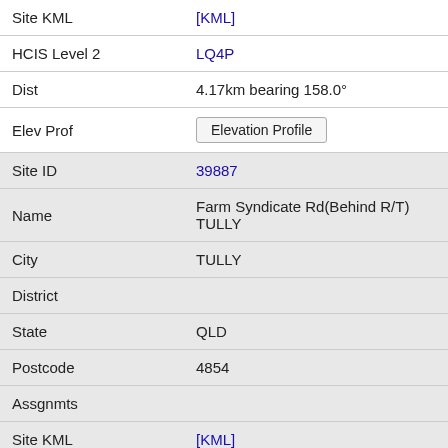| Field | Value |
| --- | --- |
| Site KML | [KML] |
| HCIS Level 2 | LQ4P |
| Dist | 4.17km bearing 158.0° |
| Elev Prof | Elevation Profile |
| Site ID | 39887 |
| Name | Farm Syndicate Rd(Behind R/T) TULLY |
| City | TULLY |
| District |  |
| State | QLD |
| Postcode | 4854 |
| Assgnmts |  |
| Site KML | [KML] |
| HCIS Level 2 | LQ4P |
| Dist | 4.36km bearing 182.2° |
| Elev Prof | Elevation Profile |
| Site ID | 139832 |
| Name | BSES Dallachy Road TULLY |